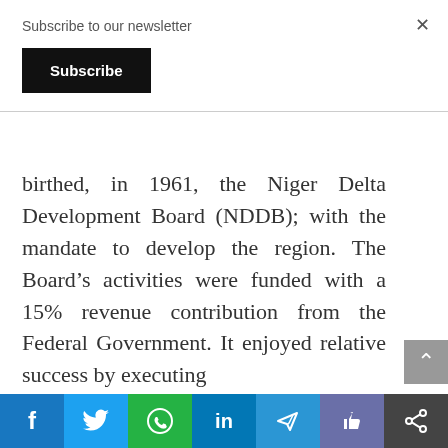Subscribe to our newsletter
Subscribe
birthed, in 1961, the Niger Delta Development Board (NDDB); with the mandate to develop the region. The Board's activities were funded with a 15% revenue contribution from the Federal Government. It enjoyed relative success by executing
f  [twitter]  [whatsapp]  in  [telegram]  [like]  [share]